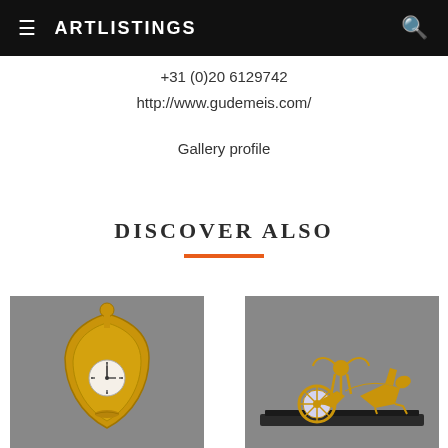ARTLISTINGS
+31 (0)20 6129742
http://www.gudemeis.com/
Gallery profile
DISCOVER ALSO
[Figure (photo): Gold ornate shield-shaped mantel clock with white enamel clock face on grey background]
[Figure (photo): Gold ornate Empire-style chariot clock with figure driving chariot pulled by two horses, on dark base, grey background]